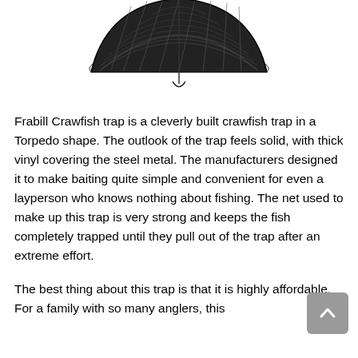[Figure (photo): A black wire mesh crawfish trap in a torpedo/rectangular shape, shown from a slight angle. The trap has a mesh net body with visible structural ribs and an opening.]
Frabill Crawfish trap is a cleverly built crawfish trap in a Torpedo shape. The outlook of the trap feels solid, with thick vinyl covering the steel metal. The manufacturers designed it to make baiting quite simple and convenient for even a layperson who knows nothing about fishing. The net used to make up this trap is very strong and keeps the fish completely trapped until they pull out of the trap after an extreme effort.
The best thing about this trap is that it is highly affordable. For a family with so many anglers, this